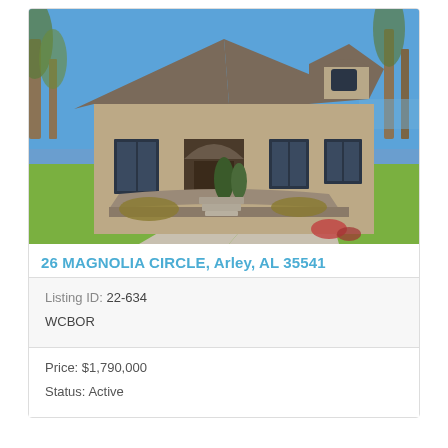[Figure (photo): Exterior photo of a large brick house with steep gabled roofs, arched entry, stone retaining wall, manicured lawn, and tree-lined sky background at 26 Magnolia Circle, Arley, AL.]
26 MAGNOLIA CIRCLE, Arley, AL 35541
| Listing ID: 22-634 |
| WCBOR |
| Price: $1,790,000 |
| Status: Active |